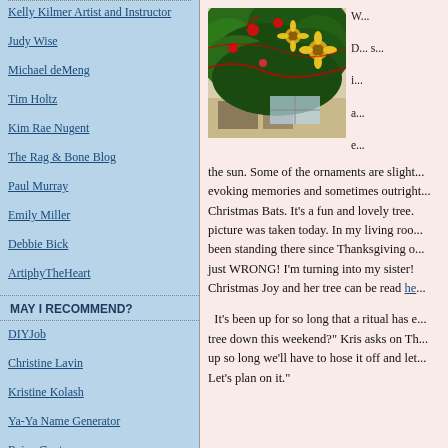Kelly Kilmer Artist and Instructor
Judy Wise
Michael deMeng
Tim Holtz
Kim Rae Nugent
The Rag & Bone Blog
Paul Murray
Emily Miller
Debbie Bick
ArtiphyTheHeart
MAY I RECOMMEND?
DIYJob
Christine Lavin
Kristine Kolash
Ya-Ya Name Generator
Raina Gentry
Brian Dettmer
[Figure (photo): Photo of a Christmas tree with ornaments including sunflowers, red flowers, and decorative elements, viewed from below/side angle in a living room]
the sun. Some of the ornaments are slight... evoking memories and sometimes outright... Christmas Bats. It's a fun and lovely tree. picture was taken today. In my living room been standing there since Thanksgiving o... just WRONG! I'm turning into my sister! Christmas Joy and her tree can be read he...
It's been up for so long that a ritual has e... tree down this weekend?" Kris asks on Th... up so long we'll have to hose it off and let... Let's plan on it."